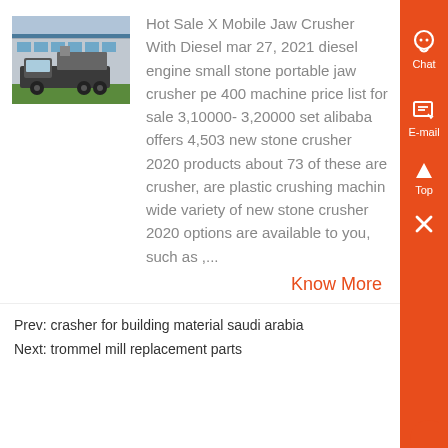[Figure (photo): Photo of a mobile jaw crusher truck parked outside an industrial building]
Hot Sale X Mobile Jaw Crusher With Diesel mar 27, 2021 diesel engine small stone portable jaw crusher pe 400 machine price list for sale 3,10000- 3,20000 set alibaba offers 4,503 new stone crusher 2020 products about 73 of these are crusher, are plastic crushing machin wide variety of new stone crusher 2020 options are available to you, such as ,...
Know More
Prev: crasher for building material saudi arabia
Next: trommel mill replacement parts